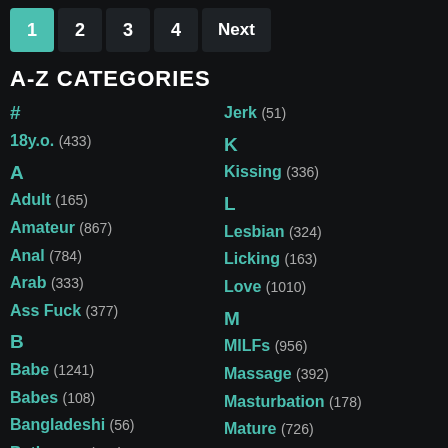1 2 3 4 Next
A-Z CATEGORIES
#
18y.o. (433)
A
Adult (165)
Amateur (867)
Anal (784)
Arab (333)
Ass Fuck (377)
B
Babe (1241)
Babes (108)
Bangladeshi (56)
Bathroom (236)
Jerk (51)
K
Kissing (336)
L
Lesbian (324)
Licking (163)
Love (1010)
M
MILFs (956)
Massage (392)
Masturbation (178)
Mature (726)
Milf (1179)